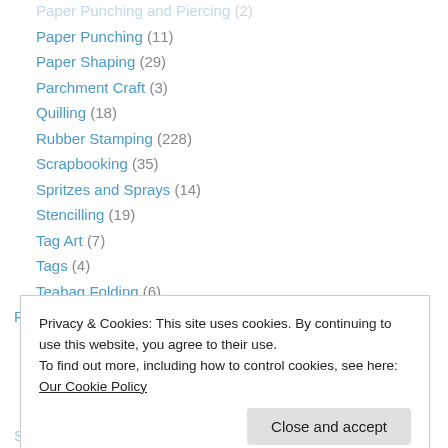Paper Punching (11)
Paper Shaping (29)
Parchment Craft (3)
Quilling (18)
Rubber Stamping (228)
Scrapbooking (35)
Spritzes and Sprays (14)
Stencilling (19)
Tag Art (7)
Tags (4)
Teabag Folding (6)
Photography (2)
Micro Photography (1)
SVG Cutting File (125)
Privacy & Cookies: This site uses cookies. By continuing to use this website, you agree to their use. To find out more, including how to control cookies, see here: Our Cookie Policy
Close and accept